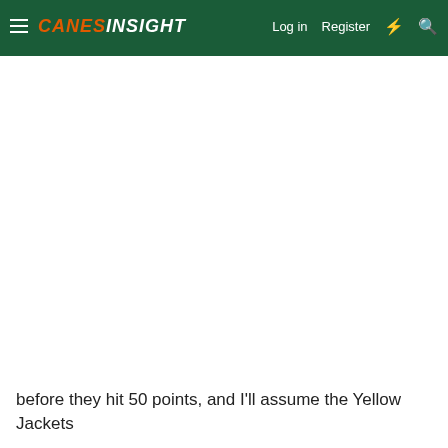CANES INSIGHT — Log in  Register
before they hit 50 points, and I'll assume the Yellow Jackets